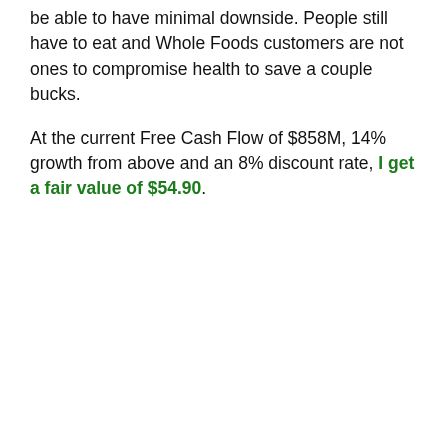be able to have minimal downside. People still have to eat and Whole Foods customers are not ones to compromise health to save a couple bucks.
At the current Free Cash Flow of $858M, 14% growth from above and an 8% discount rate, I get a fair value of $54.90.